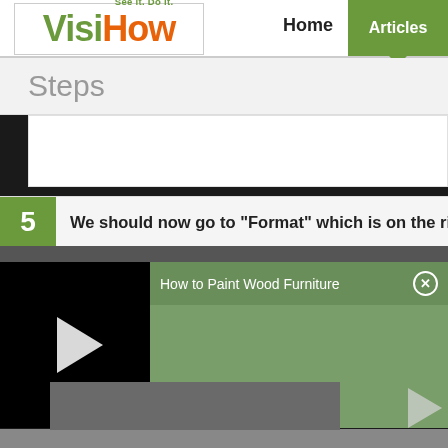[Figure (logo): VisiHow logo with tagline 'See it. Do it.' — 'Visi' in olive green, 'How' in orange]
Home
Articles
Steps
5  We should now go to "Format" which is on the rig…
[Figure (screenshot): Video player with play button on black background]
How to Paint Wood Furniture
[Figure (screenshot): Bottom image strip showing furniture content]